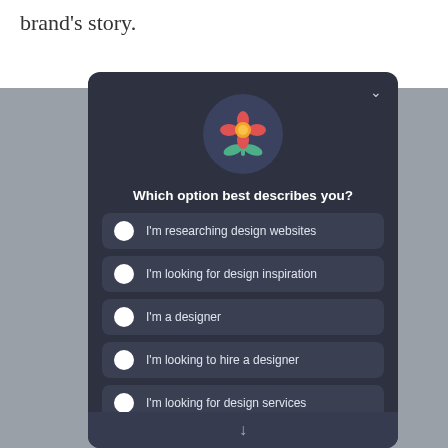brand's story.
[Figure (screenshot): A dark-themed modal dialog with a flower icon and the question 'Which option best describes you?' with five radio button options: I'm researching design websites, I'm looking for design inspiration, I'm a designer, I'm looking to hire a designer, I'm looking for design services, and a scroll-down arrow at the bottom.]